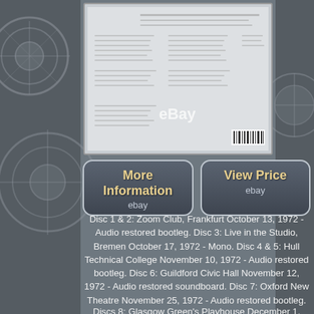[Figure (photo): Back of a multi-disc CD/DVD box set product showing track listing and packaging information, displayed against a grey background with an eBay watermark overlay]
[Figure (other): Two eBay listing buttons side by side: 'More Information / ebay' and 'View Price / ebay', styled with dark rounded rectangle borders and yellow-gold text on dark background]
Disc 1 & 2: Zoom Club, Frankfurt October 13, 1972 - Audio restored bootleg. Disc 3: Live in the Studio, Bremen October 17, 1972 - Mono. Disc 4 & 5: Hull Technical College November 10, 1972 - Audio restored bootleg. Disc 6: Guildford Civic Hall November 12, 1972 - Audio restored soundboard. Disc 7: Oxford New Theatre November 25, 1972 - Audio restored bootleg.
Discs 8: Glasgow Green's Playhouse December 1, 1972 - Audio restored bootleg. Disc 9: Portsmouth